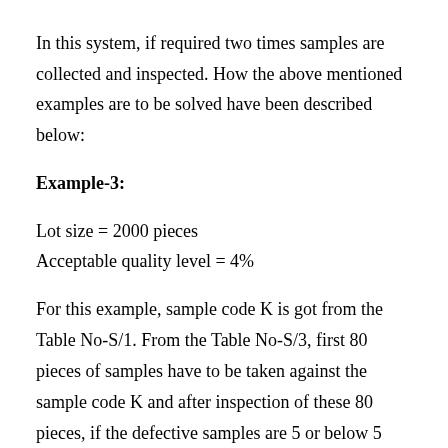In this system, if required two times samples are collected and inspected. How the above mentioned examples are to be solved have been described below:
Example-3:
Lot size = 2000 pieces
Acceptable quality level = 4%
For this example, sample code K is got from the Table No-S/1. From the Table No-S/3, first 80 pieces of samples have to be taken against the sample code K and after inspection of these 80 pieces, if the defective samples are 5 or below 5 then the lot will be accepted. But if the defective samples are 9 or above, then the lot will be rejected. If the number